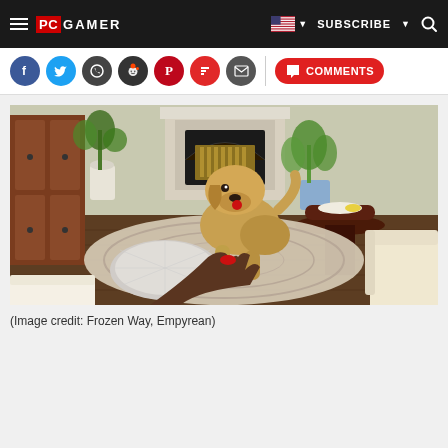PC GAMER | SUBSCRIBE | Search
[Figure (other): Social media sharing icons: Facebook (blue), Twitter (cyan), WhatsApp (dark), Reddit (dark/alien), Pinterest (red), Flipboard (red), Email (dark), Comments button (red)]
[Figure (screenshot): Video game screenshot showing a first-person view of a living room with a golden retriever dog standing on a patterned rug, a fireplace in the background, potted plants, a round coffee table, and a sofa. The player appears to be holding a red treat toward the dog.]
(Image credit: Frozen Way, Empyrean)